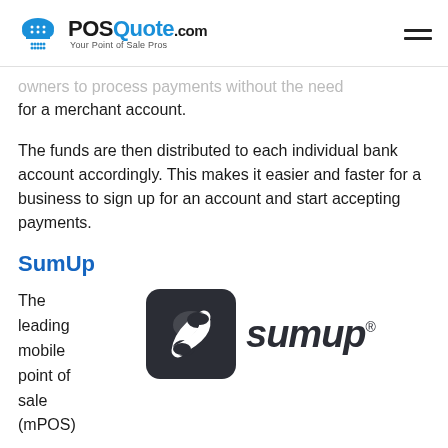POSQuote.com — Your Point of Sale Pros
owners to process payments without the need for a merchant account.
The funds are then distributed to each individual bank account accordingly. This makes it easier and faster for a business to sign up for an account and start accepting payments.
SumUp
The leading mobile point of sale (mPOS)
[Figure (logo): SumUp logo — dark square icon with stylized S shape, and SumUp wordmark with registered trademark symbol]